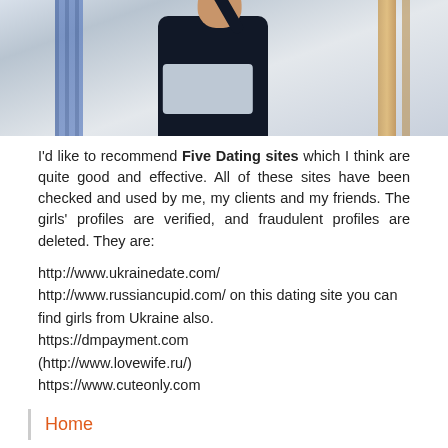[Figure (photo): Man in dark clothing sitting at a laptop, viewed from slightly above, with a light blue/white background]
I'd like to recommend Five Dating sites which I think are quite good and effective. All of these sites have been checked and used by me, my clients and my friends. The girls' profiles are verified, and fraudulent profiles are deleted. They are:
http://www.ukrainedate.com/
http://www.russiancupid.com/ on this dating site you can find girls from Ukraine also.
https://dmpayment.com
(http://www.lovewife.ru/)
https://www.cuteonly.com
Home